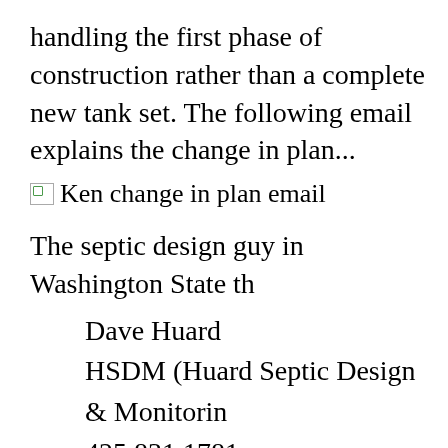handling the first phase of construction rather than a complete new tank set.  The following email explains the change in plan...
[Figure (other): Broken image placeholder labeled 'Ken change in plan email']
Ken change in plan email
The septic design guy in Washington State th
Dave Huard
HSDM (Huard Septic Design & Monitorin
425 831 1781
209 Main Ave S #112, North Bend, WA 98
april@septicdesign.net
You need to take the design after it has been s